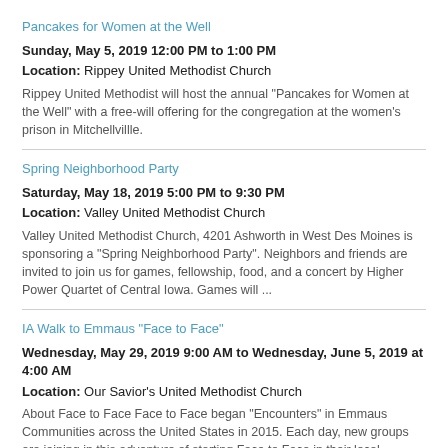Pancakes for Women at the Well
Sunday, May 5, 2019 12:00 PM to 1:00 PM
Location: Rippey United Methodist Church
Rippey United Methodist will host the annual "Pancakes for Women at the Well" with a free-will offering for the congregation at the women's prison in Mitchellvillle.
Spring Neighborhood Party
Saturday, May 18, 2019 5:00 PM to 9:30 PM
Location: Valley United Methodist Church
Valley United Methodist Church, 4201 Ashworth in West Des Moines is sponsoring a "Spring Neighborhood Party". Neighbors and friends are invited to join us for games, fellowship, food, and a concert by Higher Power Quartet of Central Iowa. Games will ...
IA Walk to Emmaus "Face to Face"
Wednesday, May 29, 2019 9:00 AM to Wednesday, June 5, 2019 at 4:00 AM
Location: Our Savior's United Methodist Church
About Face to Face Face to Face began "Encounters" in Emmaus Communities across the United States in 2015. Each day, new groups are joining in this adventure of starting Face to Face in their local Emmaus communities. They are experiencing a renewed ...